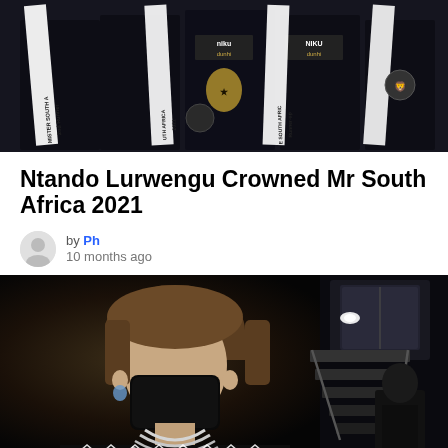[Figure (photo): A group of men wearing formal suits and white sashes/banners reading 'Mr South Africa 2021', '2nd Runner', and similar pageant titles, photographed against a dark background.]
Ntando Lurwengu Crowned Mr South Africa 2021
by Ph
10 months ago
[Figure (photo): A person wearing a black face mask and a black outfit with decorative white pattern necklace/collar, standing near aircraft stairs at night. Another person in a suit is visible in the background.]